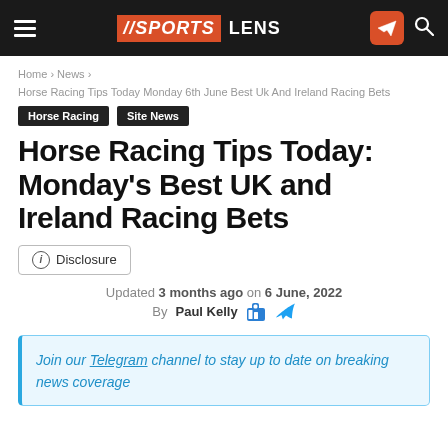SPORTS LENS
Home › News › Horse Racing Tips Today Monday 6th June Best Uk And Ireland Racing Bets
Horse Racing
Site News
Horse Racing Tips Today: Monday's Best UK and Ireland Racing Bets
Disclosure
Updated 3 months ago on 6 June, 2022
By Paul Kelly
Join our Telegram channel to stay up to date on breaking news coverage